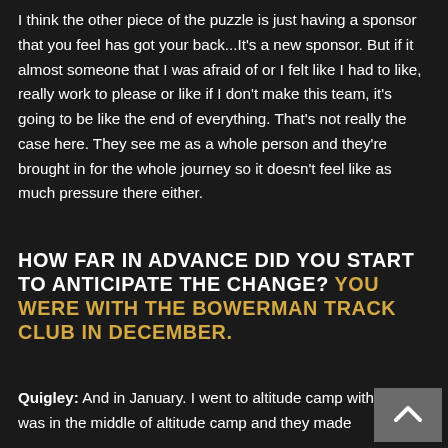I think the other piece of the puzzle is just having a sponsor that you feel has got your back...It's a new sponsor. But if it almost someone that I was afraid of or I felt like I had to like, really work to please or like if I don't make this team, it's going to be like the end of everything. That's not really the case here. They see me as a whole person and they're brought in for the whole journey so it doesn't feel like as much pressure there either.
HOW FAR IN ADVANCE DID YOU START TO ANTICIPATE THE CHANGE? YOU WERE WITH THE BOWERMAN TRACK CLUB IN DECEMBER.
Quigley: And in January. I went to altitude camp with them. I was in the middle of altitude camp and they made